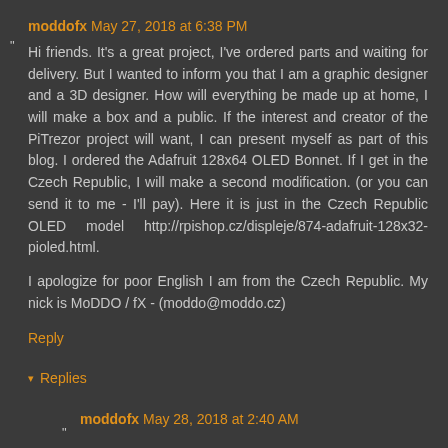moddofx May 27, 2018 at 6:38 PM
Hi friends. It's a great project, I've ordered parts and waiting for delivery. But I wanted to inform you that I am a graphic designer and a 3D designer. How will everything be made up at home, I will make a box and a public. If the interest and creator of the PiTrezor project will want, I can present myself as part of this blog. I ordered the Adafruit 128x64 OLED Bonnet. If I get in the Czech Republic, I will make a second modification. (or you can send it to me - I'll pay). Here it is just in the Czech Republic OLED model http://rpishop.cz/displeje/874-adafruit-128x32-pioled.html.
I apologize for poor English I am from the Czech Republic. My nick is MoDDO / fX - (moddo@moddo.cz)
Reply
Replies
moddofx May 28, 2018 at 2:40 AM